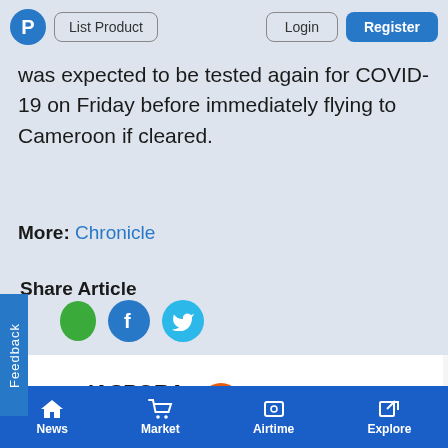P | List Product | Login | Register
was expected to be tested again for COVID-19 on Friday before immediately flying to Cameroon if cleared.
More: Chronicle
Share Article
[Figure (screenshot): Techzim Diaspora Airtime advertisement banner with globe icon, Zimbabwe flag, click here button, and Techzim logo]
Sponsored
News | Market | Airtime | Explore